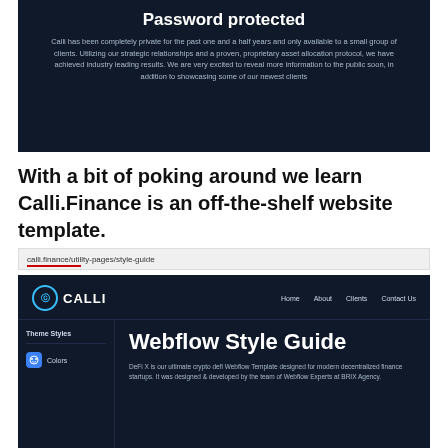[Figure (screenshot): Screenshot of Calli.Finance password-protected page with dark navy background showing title 'Password protected' and explanatory text about the site being private.]
With a bit of poking around we learn Calli.Finance is an off-the-shelf website template.
[Figure (screenshot): Screenshot of calli.finance/utility-pages/style-guide showing a dark-themed Webflow Style Guide page with CALLI logo, navigation links (Home, About, Clients, Contact Us), a Theme Styles sidebar with Colors item, and main area with 'Webflow Style Guide' heading and DeFi X template description.]